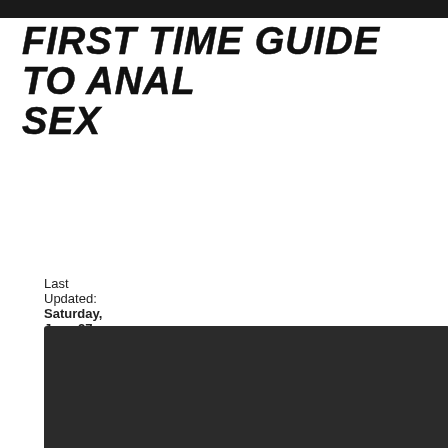FIRST TIME GUIDE TO ANAL SEX
Last Updated: Saturday, June 27, 2020
[Figure (screenshot): Embedded YouTube video player showing an age-restricted video error message. Dark background with an exclamation mark circle icon and text: 'This video is age-restricted and only available on YouTube. Learn more' and 'Watch on YouTube' link.]